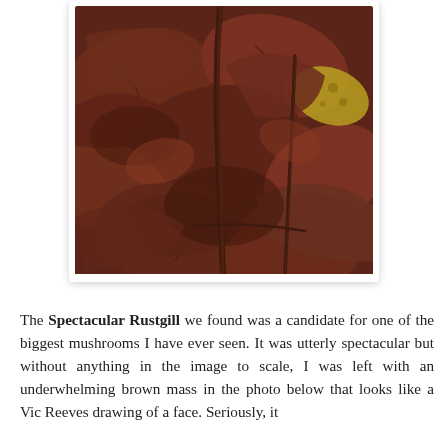[Figure (photo): A close-up photograph of autumn fallen leaves on the ground, predominantly dark reddish-brown in colour, with a thin dark red-brown mushroom stem or stalk rising up from the leaf litter. Some yellow-spotted leaves are visible. The image is mounted in a white card-style frame with a subtle drop shadow.]
The Spectacular Rustgill we found was a candidate for one of the biggest mushrooms I have ever seen. It was utterly spectacular but without anything in the image to scale, I was left with an underwhelming brown mass in the photo below that looks like a Vic Reeves drawing of a face. Seriously, it